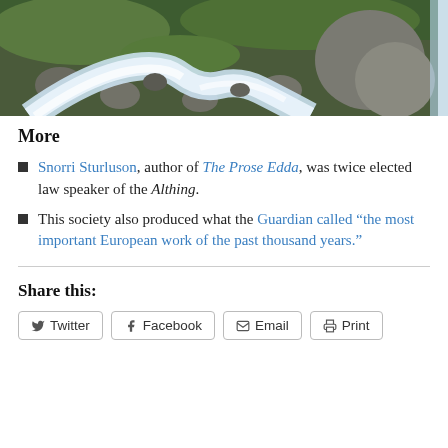[Figure (photo): Photograph of a rocky mountain stream with white rushing water, surrounded by green moss-covered rocks and boulders.]
More
Snorri Sturluson, author of The Prose Edda, was twice elected law speaker of the Althing.
This society also produced what the Guardian called "the most important European work of the past thousand years."
Share this:
Twitter | Facebook | Email | Print